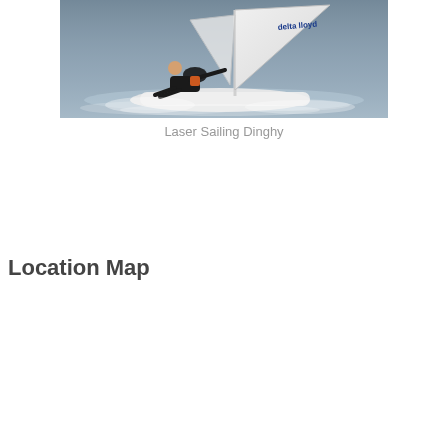[Figure (photo): A sailor in a wetsuit leaning back on a Laser sailing dinghy on choppy water. The sail has 'delta lloyd' branding visible. White wake and water spray surround the boat.]
Laser Sailing Dinghy
Location Map